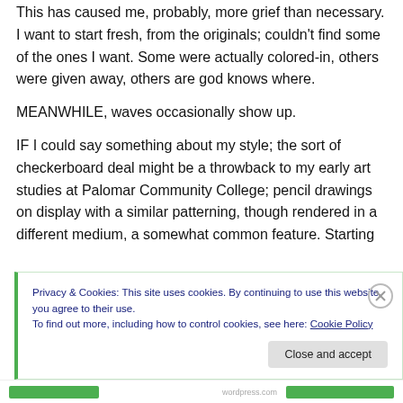This has caused me, probably, more grief than necessary. I want to start fresh, from the originals; couldn't find some of the ones I want. Some were actually colored-in, others were given away, others are god knows where.
MEANWHILE, waves occasionally show up.
IF I could say something about my style; the sort of checkerboard deal might be a throwback to my early art studies at Palomar Community College; pencil drawings on display with a similar patterning, though rendered in a different medium, a somewhat common feature. Starting
Privacy & Cookies: This site uses cookies. By continuing to use this website, you agree to their use.
To find out more, including how to control cookies, see here: Cookie Policy